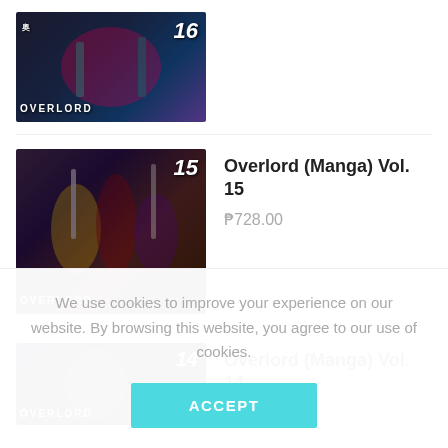[Figure (illustration): Manga book cover for Overlord Vol. 16 (partially visible at top)]
[Figure (illustration): Manga book cover for Overlord (Manga) Vol. 15 showing anime characters with swords and armor]
Overlord (Manga) Vol. 15
₱728.00
[Figure (illustration): Manga book cover for Overlord (Manga) Vol. 14 (partially visible at bottom)]
Overlord (Manga) Vol. 14
₱728.00
We use cookies to improve your experience on our website. By browsing this website, you agree to our use of cookies.
ACCEPT